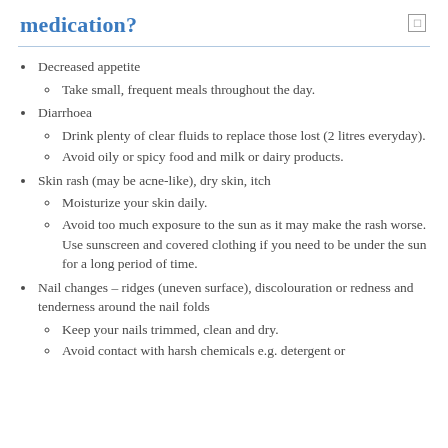medication?
Decreased appetite
Take small, frequent meals throughout the day.
Diarrhoea
Drink plenty of clear fluids to replace those lost (2 litres everyday).
Avoid oily or spicy food and milk or dairy products.
Skin rash (may be acne-like), dry skin, itch
Moisturize your skin daily.
Avoid too much exposure to the sun as it may make the rash worse. Use sunscreen and covered clothing if you need to be under the sun for a long period of time.
Nail changes – ridges (uneven surface), discolouration or redness and tenderness around the nail folds
Keep your nails trimmed, clean and dry.
Avoid contact with harsh chemicals e.g. detergent or